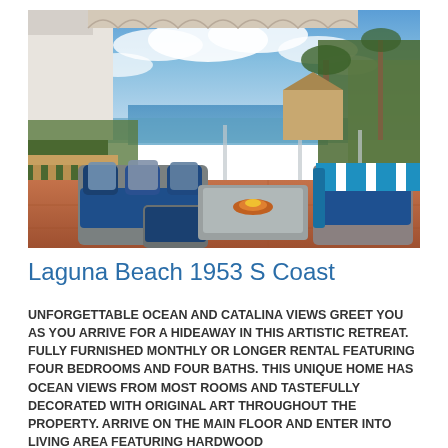[Figure (photo): Outdoor patio/terrace of a coastal property with blue cushioned sectional sofa and striped blue-white chairs around a fire pit table, with ocean and tropical vegetation visible in the background under a partly cloudy sky.]
Laguna Beach 1953 S Coast
UNFORGETTABLE OCEAN AND CATALINA VIEWS GREET YOU AS YOU ARRIVE FOR A HIDEAWAY IN THIS ARTISTIC RETREAT. FULLY FURNISHED MONTHLY OR LONGER RENTAL FEATURING FOUR BEDROOMS AND FOUR BATHS. THIS UNIQUE HOME HAS OCEAN VIEWS FROM MOST ROOMS AND TASTEFULLY DECORATED WITH ORIGINAL ART THROUGHOUT THE PROPERTY. ARRIVE ON THE MAIN FLOOR AND ENTER INTO LIVING AREA FEATURING HARDWOOD